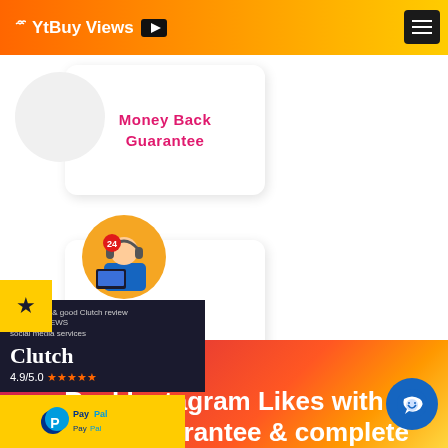YtBuy Views
Money Back Guarantee
[Figure (illustration): 24/7 customer support agent illustration with headset, sitting at computer, with a red badge showing '24']
Complete Support
[Figure (infographic): Clutch review widget showing 4.9/5.0 rating with stars and review prompt text]
[Figure (logo): PayPal logo on yellow background]
Real Instagram Likes with lifetime guarantee & complete